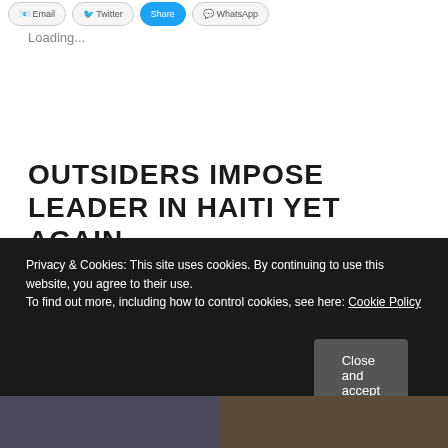Loading...
OUTSIDERS IMPOSE LEADER IN HAITI YET AGAIN
August 5, 2021   Leave a comment
Privacy & Cookies: This site uses cookies. By continuing to use this website, you agree to their use.
To find out more, including how to control cookies, see here: Cookie Policy
[Figure (screenshot): Close and accept button on cookie banner]
[Figure (photo): Two photos at the bottom: left shows protest scene, right shows flags]